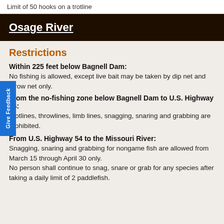Limit of 50 hooks on a trotline
Osage River
Restrictions
Within 225 feet below Bagnell Dam:
No fishing is allowed, except live bait may be taken by dip net and throw net only.
From the no-fishing zone below Bagnell Dam to U.S. Highway 54:
Trotlines, throwlines, limb lines, snagging, snaring and grabbing are prohibited.
From U.S. Highway 54 to the Missouri River:
Snagging, snaring and grabbing for nongame fish are allowed from March 15 through April 30 only.
No person shall continue to snag, snare or grab for any species after taking a daily limit of 2 paddlefish.